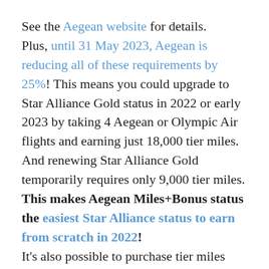See the Aegean website for details.
Plus, until 31 May 2023, Aegean is reducing all of these requirements by 25%! This means you could upgrade to Star Alliance Gold status in 2022 or early 2023 by taking 4 Aegean or Olympic Air flights and earning just 18,000 tier miles. And renewing Star Alliance Gold temporarily requires only 9,000 tier miles. This makes Aegean Miles+Bonus status the easiest Star Alliance status to earn from scratch in 2022!
It's also possible to purchase tier miles from Aegean for €50 per 500 tier miles. There is an annual purchase limit of 1,000 tier miles